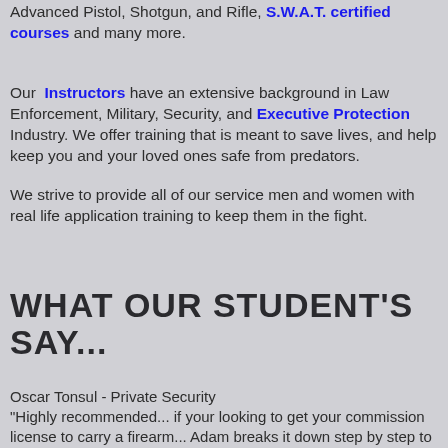Advanced Pistol, Shotgun, and Rifle, S.W.A.T. certified courses and many more.
Our Instructors have an extensive background in Law Enforcement, Military, Security, and Executive Protection Industry. We offer training that is meant to save lives, and help keep you and your loved ones safe from predators.
We strive to provide all of our service men and women with real life application training to keep them in the fight.
WHAT OUR STUDENT'S SAY...
Oscar Tonsul - Private Security
"Highly recommended... if your looking to get your commission license to carry a firearm... Adam breaks it down step by step to you so you can understand what's being taught to you... really enjoyed being a students of his..."
Stan Smith - USMC